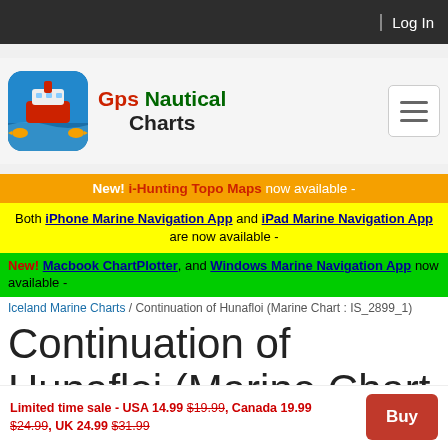Log In
[Figure (logo): GPS Nautical Charts app icon with ship and fish illustration]
Gps Nautical Charts
New! i-Hunting Topo Maps now available -
Both iPhone Marine Navigation App and iPad Marine Navigation App are now available -
New! Macbook ChartPlotter, and Windows Marine Navigation App now available -
Iceland Marine Charts / Continuation of Hunafloi (Marine Chart : IS_2899_1)
Continuation of Hunafloi (Marine Chart : IS_2899_1)
Limited time sale - USA 14.99 $19.99, Canada 19.99 $24.99, UK 24.99 $31.99